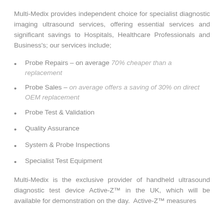Multi-Medix provides independent choice for specialist diagnostic imaging ultrasound services, offering essential services and significant savings to Hospitals, Healthcare Professionals and Business's; our services include;
Probe Repairs – on average 70% cheaper than a replacement
Probe Sales – on average offers a saving of 30% on direct OEM replacement
Probe Test & Validation
Quality Assurance
System & Probe Inspections
Specialist Test Equipment
Multi-Medix is the exclusive provider of handheld ultrasound diagnostic test device Active-Z™ in the UK, which will be available for demonstration on the day. Active-Z™ measures